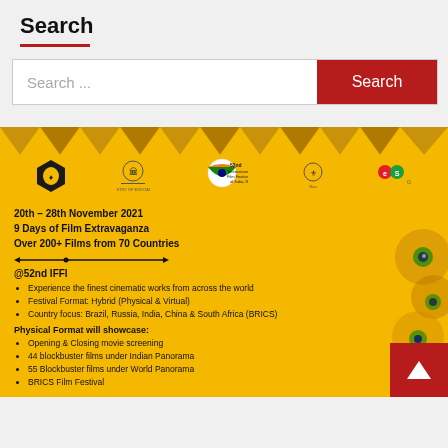Search
[Figure (screenshot): Search input bar with placeholder text 'Search ...' and a dark red Search button on the right]
[Figure (infographic): 52nd IFFI promotional banner on yellow background. Shows logos at top, dates 20th-28th November 2021, 9 Days of Film Extravaganza, Over 200+ Films from 70 Countries. Lists highlights: Experience the finest cinematic works from across the world; Festival Format: Hybrid (Physical & Virtual); Country focus: Brazil, Russia, India, China & South Africa (BRICS). Physical Format will showcase: Opening & Closing movie screening; 44 blockbuster films under Indian Panorama; 55 Blockbuster films under World Panorama; BRICS Film Festival]